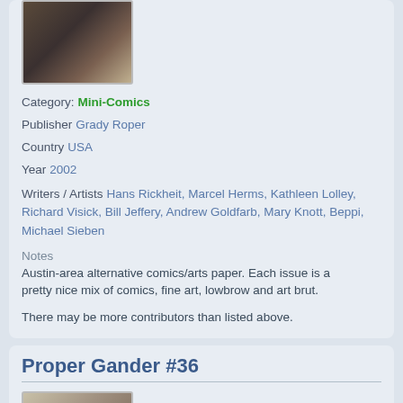[Figure (photo): Thumbnail image of comic book cover, dark tones with blue border]
Category: Mini-Comics
Publisher  Grady Roper
Country  USA
Year  2002
Writers / Artists  Hans Rickheit, Marcel Herms, Kathleen Lolley, Richard Visick, Bill Jeffery, Andrew Goldfarb, Mary Knott, Beppi, Michael Sieben
Notes
Austin-area alternative comics/arts paper. Each issue is a pretty nice mix of comics, fine art, lowbrow and art brut.
There may be more contributors than listed above.
Proper Gander #36
[Figure (photo): Thumbnail image of Proper Gander #36 comic cover]